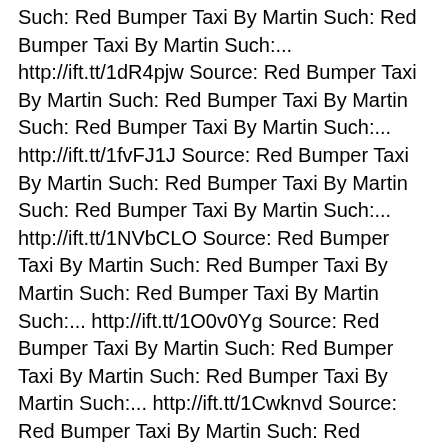Such: Red Bumper Taxi By Martin Such: Red Bumper Taxi By Martin Such:... http://ift.tt/1dR4pjw Source: Red Bumper Taxi By Martin Such: Red Bumper Taxi By Martin Such: Red Bumper Taxi By Martin Such:... http://ift.tt/1fvFJ1J Source: Red Bumper Taxi By Martin Such: Red Bumper Taxi By Martin Such: Red Bumper Taxi By Martin Such:... http://ift.tt/1NVbCLO Source: Red Bumper Taxi By Martin Such: Red Bumper Taxi By Martin Such: Red Bumper Taxi By Martin Such:... http://ift.tt/1O0v0Yg Source: Red Bumper Taxi By Martin Such: Red Bumper Taxi By Martin Such: Red Bumper Taxi By Martin Such:... http://ift.tt/1Cwknvd Source: Red Bumper Taxi By Martin Such: Red Bumper Taxi By Martin Such: Red Bumper Taxi By Martin Such:... http://ift.tt/1HULjVM Source: Red Bumper Taxi By Martin Such: Red Bumper Taxi By Martin Such: Red Bumper Taxi By Martin Such:... http://ift.tt/1gtPn55 Source: Red Bumper Taxi By Martin Such: Red Bumper Taxi By Martin Such: Red Bumper Taxi By Martin Such:... http://ift.tt/1HtM3g4 Source: Red Bumper Taxi By Martin Such: Red Bumper Taxi By Martin Such: Red Bumper Taxi By Martin Such:... http://ift.tt/1ePXGXU Source: Red Bumper Taxi By Martin Such: Red Bumper Taxi By Martin Such: Red Bumper Taxi